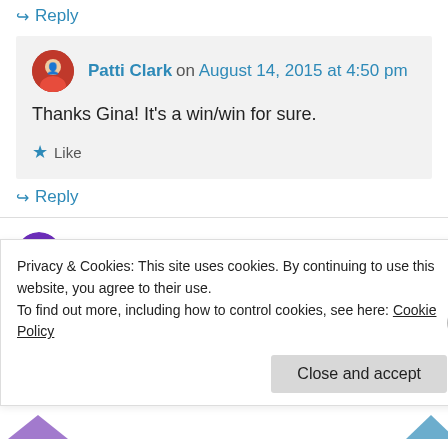↳ Reply
Patti Clark on August 14, 2015 at 4:50 pm
Thanks Gina! It's a win/win for sure.
★ Like
↳ Reply
D.R. Ebe on August 29, 2015 at 1:45 am
Privacy & Cookies: This site uses cookies. By continuing to use this website, you agree to their use. To find out more, including how to control cookies, see here: Cookie Policy
Close and accept